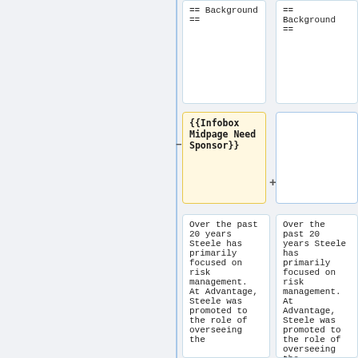== Background ==
== Background ==
{{Infobox Midpage Need Sponsor}}
Over the past 20 years Steele has primarily focused on risk management. At Advantage, Steele was promoted to the role of overseeing the
Over the past 20 years Steele has primarily focused on risk management. At Advantage, Steele was promoted to the role of overseeing the